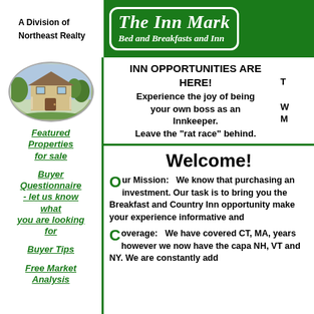A Division of Northeast Realty
The Inn Market - Bed and Breakfasts and Inn
[Figure (photo): Oval-framed photo of a Victorian inn/house with trees]
Featured Properties for sale
Buyer Questionnaire - let us know what you are looking for
Buyer Tips
Free Market Analysis
INN OPPORTUNITIES ARE HERE! Experience the joy of being your own boss as an Innkeeper. Leave the "rat race" behind.
T... W... M...
Welcome!
Our Mission: We know that purchasing an inn is a major investment. Our task is to bring you the finest selection of Bed and Breakfast and Country Inn opportunities, and to make your experience informative and...
Coverage: We have covered CT, MA... years however we now have the capa... NH, VT and NY. We are constantly ad...